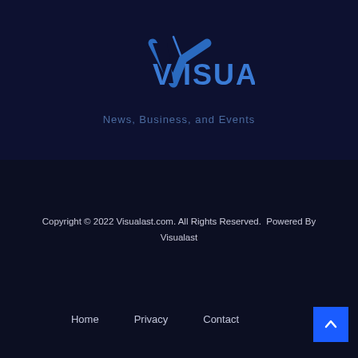[Figure (logo): Visualast logo — a stylized blue checkmark/slash V above the text VISUALAST in blue]
News, Business, and Events
Copyright © 2022 Visualast.com. All Rights Reserved.  Powered By Visualast
Home
Privacy
Contact